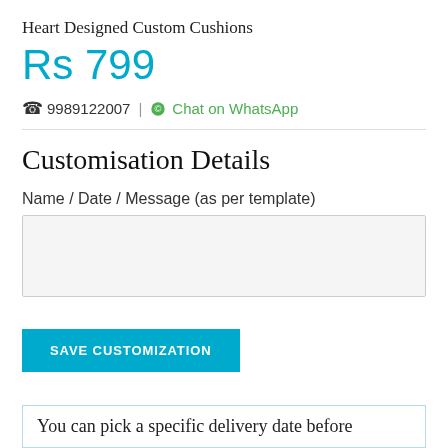Heart Designed Custom Cushions
Rs 799
☎ 9989122007 | © Chat on WhatsApp
Customisation Details
Name / Date / Message (as per template)
SAVE CUSTOMIZATION
You can pick a specific delivery date before